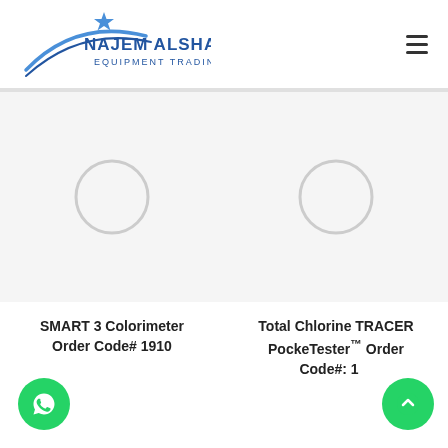[Figure (logo): Najem Alshahab Equipment Trading L.L.C logo with blue arc and star motif]
[Figure (illustration): SMART 3 Colorimeter product image placeholder (grey circle)]
SMART 3 Colorimeter Order Code# 1910
[Figure (illustration): Total Chlorine TRACER PockeTester product image placeholder (grey circle)]
Total Chlorine TRACER PockeTester™ Order Code#: 1